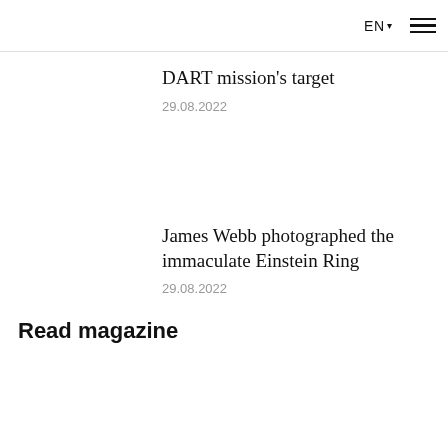EN ▾ ☰
DART mission's target
29.08.2022
James Webb photographed the immaculate Einstein Ring
29.08.2022
Read magazine